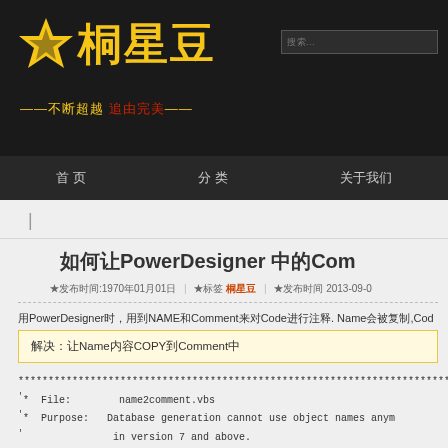桐星豆 —不断超越 追由完美— [search bar]
首页 | 分类 | 关于我
| [breadcrumb]
如何让PowerDesigner 中的Comment
★发布时间:1970年01月01日 | ★标签 桐星豆 | ★发布时间 2013-09-07
用PowerDesigner时，用到NAME和Comment来对Code进行注释. Name会被复制,Code
解决：让Name内容COPY到Comment中
'*  File:        name2comment.vbs
'*  Purpose:   Database generation cannot use object names anym
'              in version 7 and above.